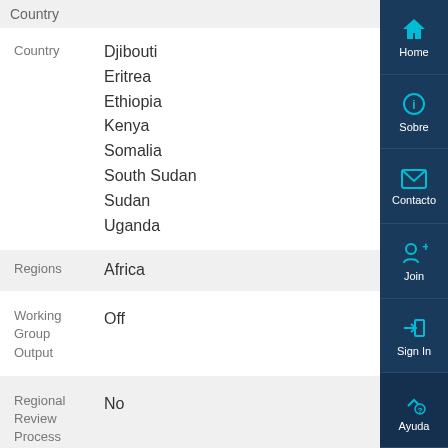Country
Country: Djibouti, Eritrea, Ethiopia, Kenya, Somalia, South Sudan, Sudan, Uganda
Regions: Africa
Working Group Output: Off
Regional Review Process: No
GCM: 3 - Information provision